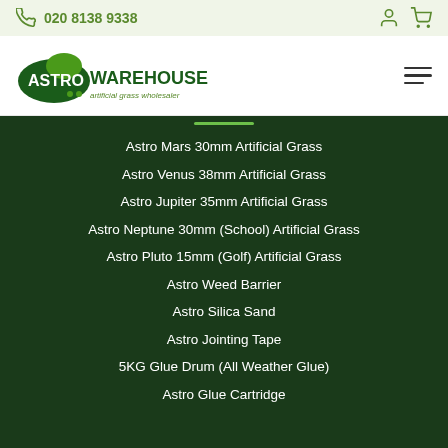020 8138 9338
[Figure (logo): Astro Warehouse artificial grass wholesaler logo — dark green oval with 'ASTRO' in white and 'WAREHOUSE' in dark green bold text, tagline 'artificial grass wholesaler']
Astro Mars 30mm Artificial Grass
Astro Venus 38mm Artificial Grass
Astro Jupiter 35mm Artificial Grass
Astro Neptune 30mm (School) Artificial Grass
Astro Pluto 15mm (Golf) Artificial Grass
Astro Weed Barrier
Astro Silica Sand
Astro Jointing Tape
5KG Glue Drum (All Weather Glue)
Astro Glue Cartridge